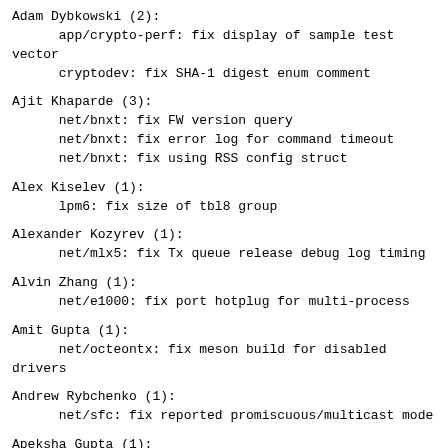Adam Dybkowski (2):
      app/crypto-perf: fix display of sample test vector
      cryptodev: fix SHA-1 digest enum comment
Ajit Khaparde (3):
      net/bnxt: fix FW version query
      net/bnxt: fix error log for command timeout
      net/bnxt: fix using RSS config struct
Alex Kiselev (1):
      lpm6: fix size of tbl8 group
Alexander Kozyrev (1):
      net/mlx5: fix Tx queue release debug log timing
Alvin Zhang (1):
      net/e1000: fix port hotplug for multi-process
Amit Gupta (1):
      net/octeontx: fix meson build for disabled drivers
Andrew Rybchenko (1):
      net/sfc: fix reported promiscuous/multicast mode
Apeksha Gupta (1):
      bus/fslmc: fix dereferencing null pointer
Arek Kusztal (1):